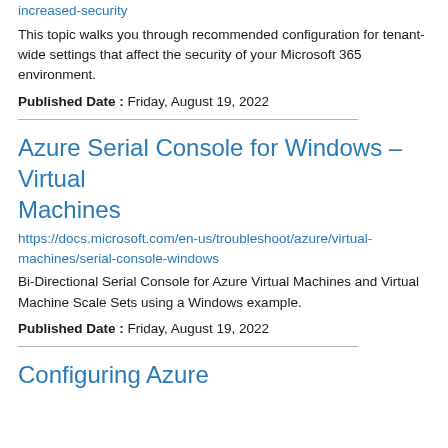increased-security
This topic walks you through recommended configuration for tenant-wide settings that affect the security of your Microsoft 365 environment.
Published Date : Friday, August 19, 2022
Azure Serial Console for Windows - Virtual Machines
https://docs.microsoft.com/en-us/troubleshoot/azure/virtual-machines/serial-console-windows
Bi-Directional Serial Console for Azure Virtual Machines and Virtual Machine Scale Sets using a Windows example.
Published Date : Friday, August 19, 2022
Configuring Azure...